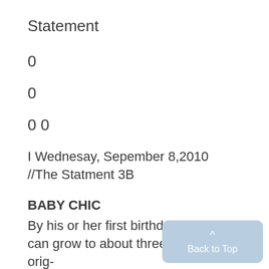Statement
0
0
0 0
I Wednesay, Sepember 8,2010 //The Statment 3B
BABY CHIC
By his or her first birthday, an infant can grow to about three times its orig-